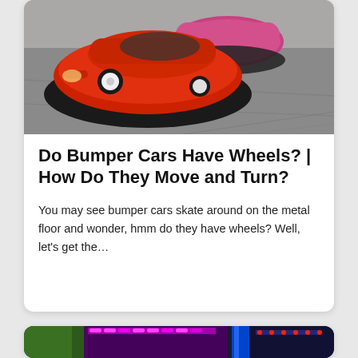[Figure (photo): Red bumper cars on a grey metal floor, viewed from front-slightly-above angle. One red-and-black bumper car prominently in foreground, another partially visible behind it.]
Do Bumper Cars Have Wheels? | How Do They Move and Turn?
You may see bumper cars skate around on the metal floor and wonder, hmm do they have wheels? Well, let's get the…
[Figure (photo): Partial view of a carnival/amusement ride with colorful purple and blue lights and structures.]